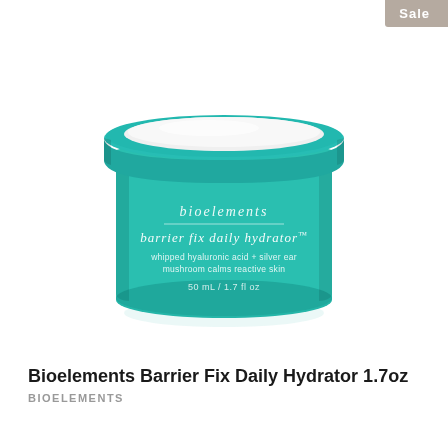[Figure (photo): Open teal/turquoise jar of Bioelements Barrier Fix Daily Hydrator cream, 50ml / 1.7 fl oz, with white cream visible inside. Label text on jar reads: bioelements, barrier fix daily hydrator™, whipped hyaluronic acid + silver ear mushroom calms reactive skin, 50 mL / 1.7 fl oz]
Sale
Bioelements Barrier Fix Daily Hydrator 1.7oz
BIOELEMENTS